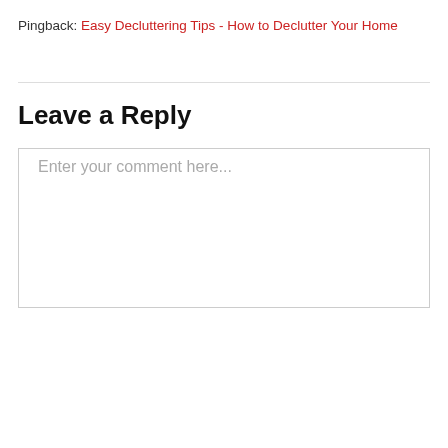Pingback: Easy Decluttering Tips - How to Declutter Your Home
Leave a Reply
Enter your comment here...